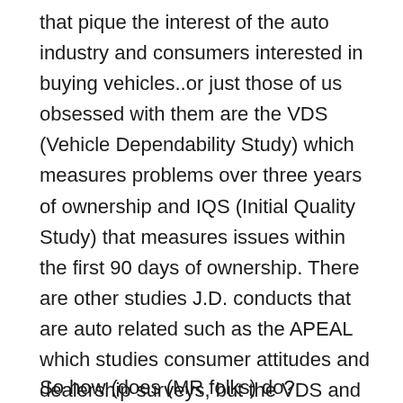that pique the interest of the auto industry and consumers interested in buying vehicles..or just those of us obsessed with them are the VDS (Vehicle Dependability Study) which measures problems over three years of ownership and IQS (Initial Quality Study) that measures issues within the first 90 days of ownership. There are other studies J.D. conducts that are auto related such as the APEAL which studies consumer attitudes and dealership surveys, but the VDS and IQS could be considered the “big ones”.
So how (does (MR folks) do?